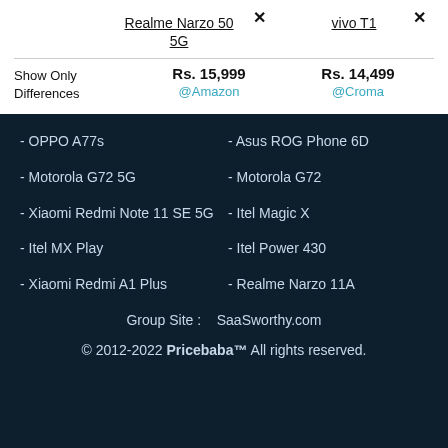|  | Realme Narzo 50 5G | vivo T1 |
| --- | --- | --- |
| Show Only Differences | Rs. 15,999 @Amazon | Rs. 14,499 @Croma |
- OPPO A77s
- Asus ROG Phone 6D
- Motorola G72 5G
- Motorola G72
- Xiaomi Redmi Note 11 SE 5G
- Itel Magic X
- Itel MX Play
- Itel Power 430
- Xiaomi Redmi A1 Plus
- Realme Narzo 11A
Group Site :    SaaSworthy.com
© 2012-2022 Pricebaba™ All rights reserved.